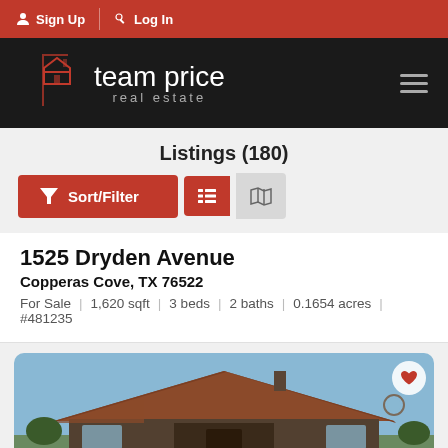Sign Up | Log In
[Figure (logo): Team Price Real Estate logo with house icon on black background]
Listings (180)
Sort/Filter | List view | Map view buttons
1525 Dryden Avenue
Copperas Cove, TX 76522
For Sale | 1,620 sqft | 3 beds | 2 baths | 0.1654 acres | #481235
[Figure (photo): Exterior photo of a brick ranch-style house with brown/red roof against a blue sky]